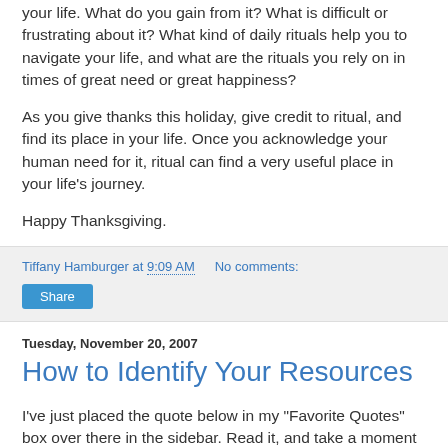your life. What do you gain from it? What is difficult or frustrating about it? What kind of daily rituals help you to navigate your life, and what are the rituals you rely on in times of great need or great happiness?
As you give thanks this holiday, give credit to ritual, and find its place in your life. Once you acknowledge your human need for it, ritual can find a very useful place in your life's journey.
Happy Thanksgiving.
Tiffany Hamburger at 9:09 AM   No comments:
Share
Tuesday, November 20, 2007
How to Identify Your Resources
I've just placed the quote below in my "Favorite Quotes" box over there in the sidebar. Read it, and take a moment to let it